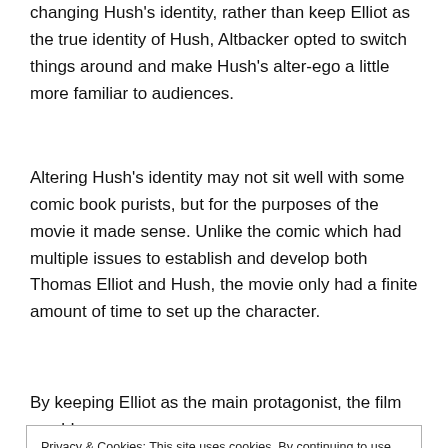changing Hush's identity, rather than keep Elliot as the true identity of Hush, Altbacker opted to switch things around and make Hush's alter-ego a little more familiar to audiences.
Altering Hush's identity may not sit well with some comic book purists, but for the purposes of the movie it made sense. Unlike the comic which had multiple issues to establish and develop both Thomas Elliot and Hush, the movie only had a finite amount of time to set up the character.
By keeping Elliot as the main protagonist, the film would
Privacy & Cookies: This site uses cookies. By continuing to use this website, you agree to their use.
To find out more, including how to control cookies, see here: Cookie Policy
In an interview with Comic Book Movie.com, Batman